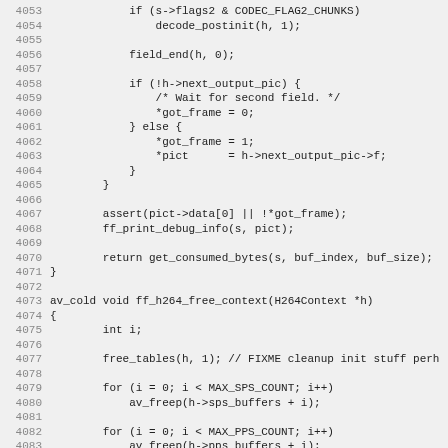[Figure (screenshot): Source code listing in C showing lines 4053-4085 of h264 decoder implementation, with line numbers on the left and monospace code on the right. Code includes conditional logic, field_end, assert, ff_print_debug_info, return statement, and av_cold void ff_h264_free_context function.]